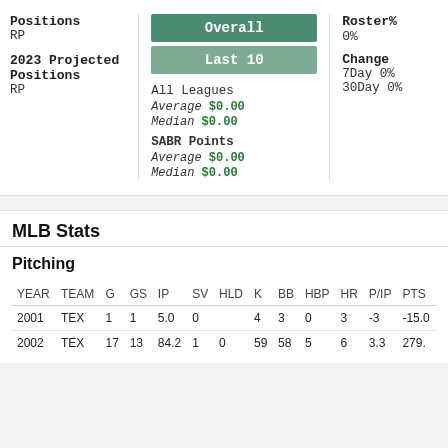Positions
RP
2023 Projected Positions
RP
Overall
Last 10
All Leagues
Average $0.00
Median $0.00
SABR Points
Average $0.00
Median $0.00
Roster%
0%
Change
7Day 0%
30Day 0%
MLB Stats
Pitching
| YEAR | TEAM | G | GS | IP | SV | HLD | K | BB | HBP | HR | P/IP | PTS |
| --- | --- | --- | --- | --- | --- | --- | --- | --- | --- | --- | --- | --- |
| 2001 | TEX | 1 | 1 | 5.0 | 0 |  | 4 | 3 | 0 | 3 | -3 | -15.0 |
| 2002 | TEX | 17 | 13 | 84.2 | 1 | 0 | 59 | 58 | 5 | 6 | 3.3 | 279. |